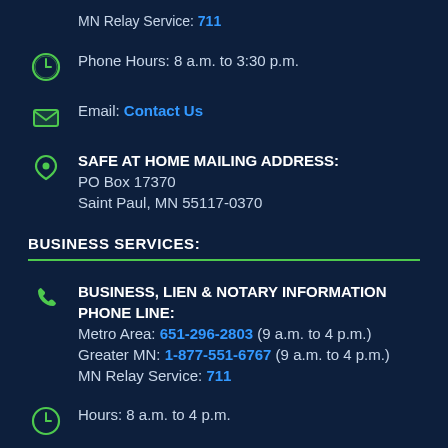MN Relay Service: 711
Phone Hours: 8 a.m. to 3:30 p.m.
Email: Contact Us
SAFE AT HOME MAILING ADDRESS:
PO Box 17370
Saint Paul, MN 55117-0370
BUSINESS SERVICES:
BUSINESS, LIEN & NOTARY INFORMATION PHONE LINE:
Metro Area: 651-296-2803 (9 a.m. to 4 p.m.)
Greater MN: 1-877-551-6767 (9 a.m. to 4 p.m.)
MN Relay Service: 711
Hours: 8 a.m. to 4 p.m.